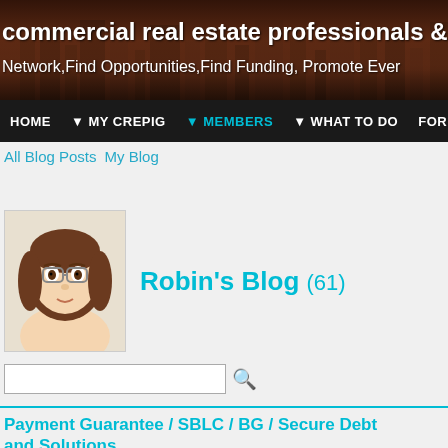[Figure (photo): Website header banner with city skyline background image showing text 'commercial real estate professionals &' and 'Network,Find Opportunities,Find Funding, Promote Ever']
commercial real estate professionals &
Network,Find Opportunities,Find Funding, Promote Ever
HOME  ▼ MY CREPIG  ▼ MEMBERS  ▼ WHAT TO DO  FORU
All Blog Posts   My Blog
[Figure (illustration): Cartoon avatar of a woman with brown hair and glasses]
Robin's Blog (61)
Payment Guarantee / SBLC / BG / Secure Debt and Solutions
Lenders Finance providers creative, clear , and efficient solution